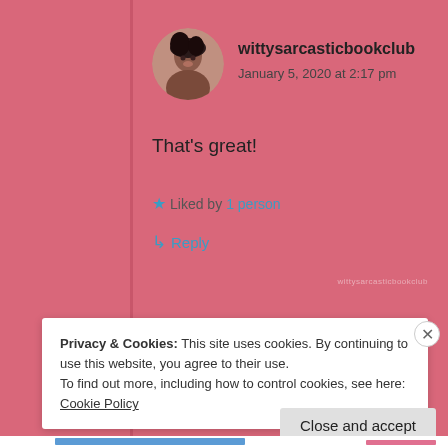wittysarcasticbookclub
January 5, 2020 at 2:17 pm
That's great!
★ Liked by 1 person
↳ Reply
Privacy & Cookies: This site uses cookies. By continuing to use this website, you agree to their use.
To find out more, including how to control cookies, see here: Cookie Policy
Close and accept